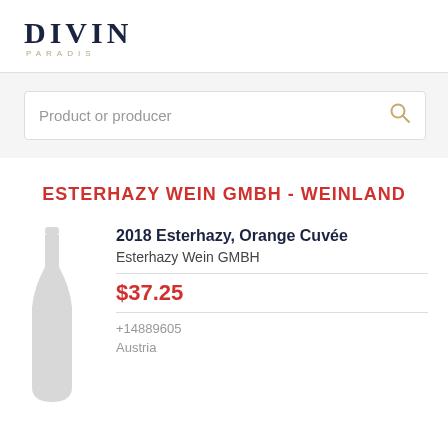DIVIN PARADIS
Product or producer
ESTERHAZY WEIN GMBH - WEINLAND
[Figure (illustration): Grey silhouette of a wine bottle]
2018 Esterhazy, Orange Cuvée
Esterhazy Wein GMBH
$37.25
+14889605
Austria